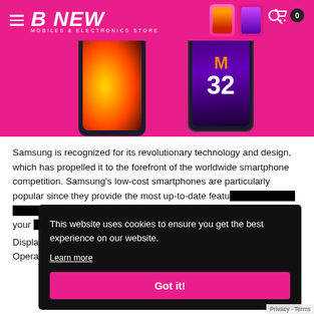B NEW MOBILES & ELECTRONICS STORE
[Figure (screenshot): Screenshot of the B NEW Mobiles & Electronics Store website showing the pink header with logo, hamburger menu, search and cart icons, and two Samsung phone images (Samsung M51 and Samsung M32) displayed on pink background.]
Samsung is recognized for its revolutionary technology and design, which has propelled it to the forefront of the worldwide smartphone competition. Samsung's low-cost smartphones are particularly popular since they provide the most up-to-date features for a price range of Rs 20,000 to Rs 30,000. The most popular Samsung mobile phones are the most recent models in the Samsung range. They come with features like Best Super AMOLED Display and Best MediaTek Processor and Android 10, Operating System. Providing upto 64 megapixels Rear Camera
This website uses cookies to ensure you get the best experience on our website.
Learn more
Got it!